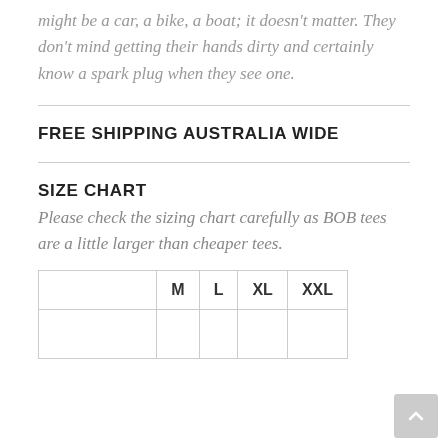might be a car, a bike, a boat; it doesn't matter. They don't mind getting their hands dirty and certainly know a spark plug when they see one.
FREE SHIPPING AUSTRALIA WIDE
SIZE CHART
Please check the sizing chart carefully as BOB tees are a little larger than cheaper tees.
|  | M | L | XL | XXL |
| --- | --- | --- | --- | --- |
|  |  |  |  |  |